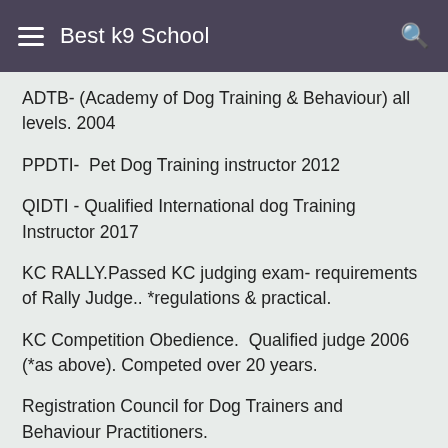Best k9 School
ADTB- (Academy of Dog Training & Behaviour) all levels. 2004
PPDTI-  Pet Dog Training instructor 2012
QIDTI - Qualified International dog Training Instructor 2017
KC RALLY.Passed KC judging exam- requirements of Rally Judge.. *regulations & practical.
KC Competition Obedience.  Qualified judge 2006 (*as above). Competed over 20 years.
Registration Council for Dog Trainers and Behaviour Practitioners.
COURSES: